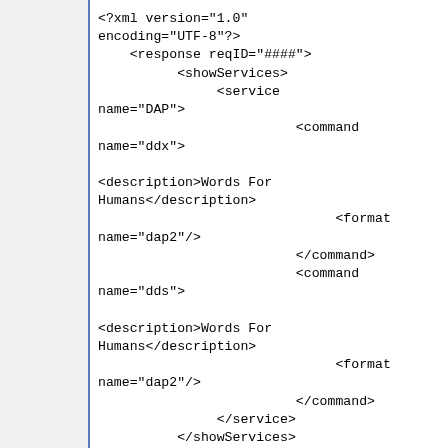<?xml version="1.0" encoding="UTF-8"?>
    <response reqID="####">
          <showServices>
               <service name="DAP">
                         <command name="ddx">

<description>Words For Humans</description>
                              <format name="dap2"/>
                         </command>
                         <command name="dds">

<description>Words For Humans</description>
                              <format name="dap2"/>
                         </command>
               </service>
          </showServices>